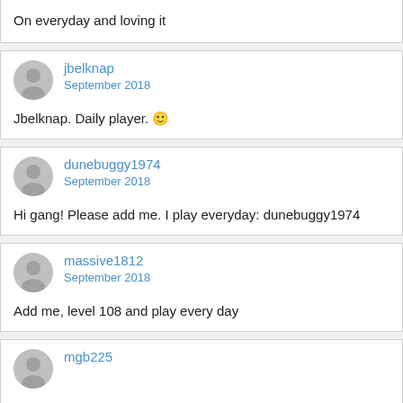On everyday and loving it
jbelknap
September 2018
Jbelknap. Daily player. 🙂
dunebuggy1974
September 2018
Hi gang! Please add me. I play everyday: dunebuggy1974
massive1812
September 2018
Add me, level 108 and play every day
mgb225
September 2018